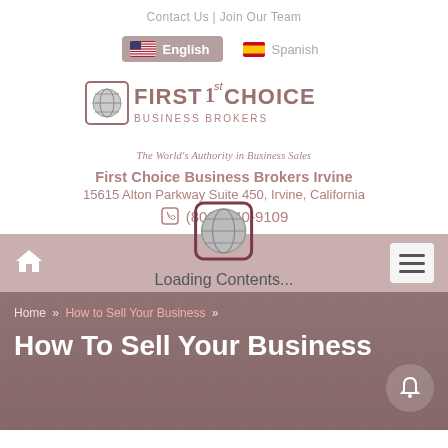Contact Us | Join Our Team
English | Spanish (language selector)
[Figure (logo): First Choice Business Brokers logo with globe icon and text 'FIRST 1st CHOICE BUSINESS BROKERS']
The World's Authority in Business Sales
First Choice Business Brokers Irvine
15615 Alton Parkway Suite 450, Irvine, California
(800) 940-9109
[Figure (other): Loading Contents... overlay with globe/loading icon]
Home » How to Sell Your Business »
How To Sell Your Business